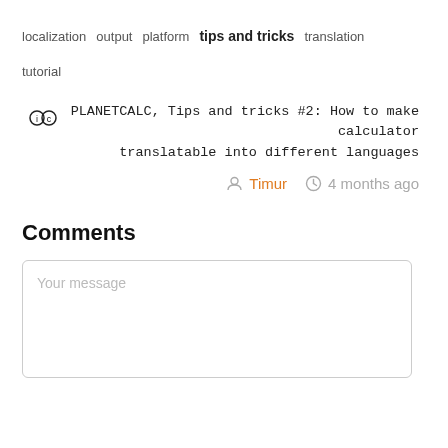localization  output  platform  tips and tricks  translation
tutorial
PLANETCALC, Tips and tricks #2: How to make calculator translatable into different languages
Timur   4 months ago
Comments
Your message